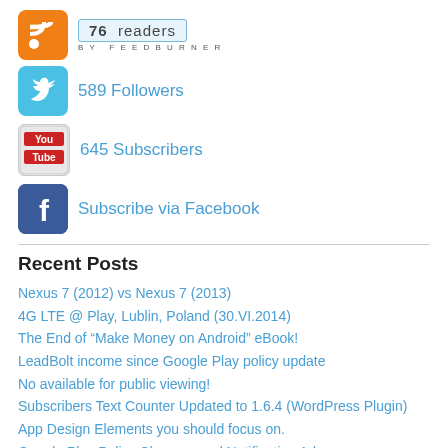[Figure (logo): RSS icon with FeedBurner 76 readers badge]
589 Followers
645 Subscribers
Subscribe via Facebook
Recent Posts
Nexus 7 (2012) vs Nexus 7 (2013)
4G LTE @ Play, Lublin, Poland (30.VI.2014)
The End of “Make Money on Android” eBook!
LeadBolt income since Google Play policy update
No available for public viewing!
Subscribers Text Counter Updated to 1.6.4 (WordPress Plugin)
App Design Elements you should focus on.
Google Play Policy Changes and Notification Ads
Make Money on Android – Version 2 Released!
LeadBolt: is it worth to implement?
Most Popular: